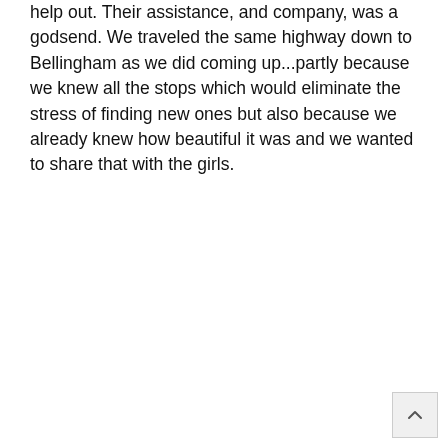help out. Their assistance, and company, was a godsend. We traveled the same highway down to Bellingham as we did coming up...partly because we knew all the stops which would eliminate the stress of finding new ones but also because we already knew how beautiful it was and we wanted to share that with the girls.